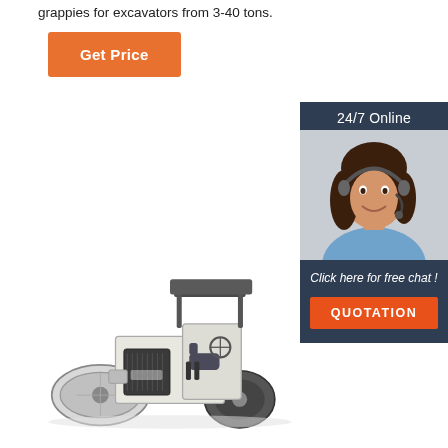grappies for excavators from 3-40 tons.
Get Price
[Figure (photo): 24/7 Online customer service widget with a smiling woman wearing a headset, dark blue background, 'Click here for free chat!' text, and orange QUOTATION button]
[Figure (photo): White and dark grey road roller / compactor machine photographed on white background]